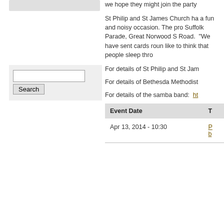we hope they might join the party
St Philip and St James Church has a fun and noisy occasion. The pro Suffolk Parade, Great Norwood S Road.  "We have sent cards roun like to think that people sleep thro
For details of St Philip and St Jam
For details of Bethesda Methodist
For details of the samba band:  ht
| Event Date | T |
| --- | --- |
| Apr 13, 2014 - 10:30 | P b |
[Figure (screenshot): Search widget with text input box and Search button on grey background]